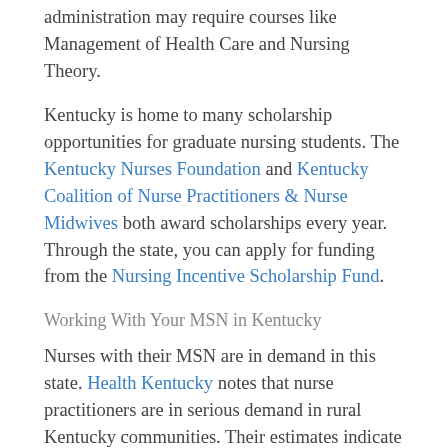administration may require courses like Management of Health Care and Nursing Theory.
Kentucky is home to many scholarship opportunities for graduate nursing students. The Kentucky Nurses Foundation and Kentucky Coalition of Nurse Practitioners & Nurse Midwives both award scholarships every year. Through the state, you can apply for funding from the Nursing Incentive Scholarship Fund.
Working With Your MSN in Kentucky
Nurses with their MSN are in demand in this state. Health Kentucky notes that nurse practitioners are in serious demand in rural Kentucky communities. Their estimates indicate that 43% of Kentucky’s population lives in a rural area, while only 28% of the state’s primary care practitioners practice in